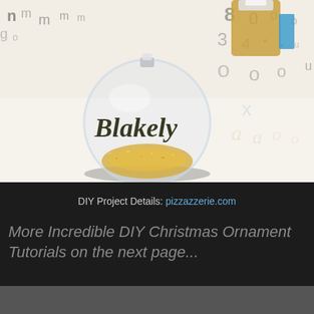[Figure (photo): A clear glass Christmas ornament filled with gold glitter and labeled 'Blakely' in gold script lettering, resting on a sheet of letter stickers. A gold glitter container is visible in the background.]
DIY Project Details: pizzazzerie.com
More Incredible DIY Christmas Ornament Tutorials on the next page...